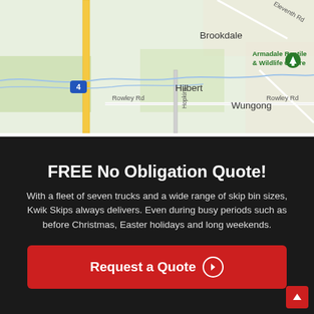[Figure (map): Google Maps screenshot showing area around Hilbert, Brookdale, Wungong, and Armadale Reptile & Wildlife Centre in Western Australia. Roads including Rowley Rd, Eleventh Rd, Hopkins Rd visible. Route 4 marker visible.]
FREE No Obligation Quote!
With a fleet of seven trucks and a wide range of skip bin sizes, Kwik Skips always delivers. Even during busy periods such as before Christmas, Easter holidays and long weekends.
Request a Quote →